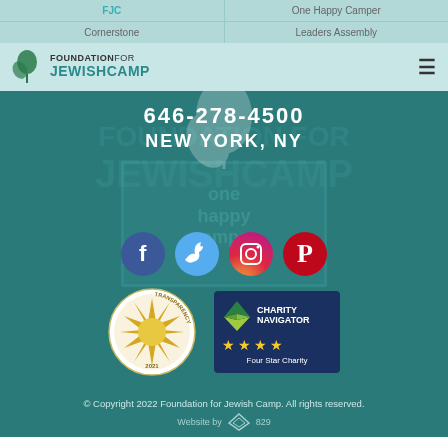FJC | One Happy Camper | Cornerstone | Leaders Assembly
[Figure (logo): Foundation for Jewish Camp logo with leaf/plant icon]
646-278-4500
NEW YORK, NY
[Figure (illustration): Social media icons: Facebook, Twitter, Instagram, Pinterest]
[Figure (illustration): GuideStar Gold Transparency 2021 badge and Charity Navigator Four Star Charity badge]
© Copyright 2022 Foundation for Jewish Camp. All rights reserved.
Website by 829